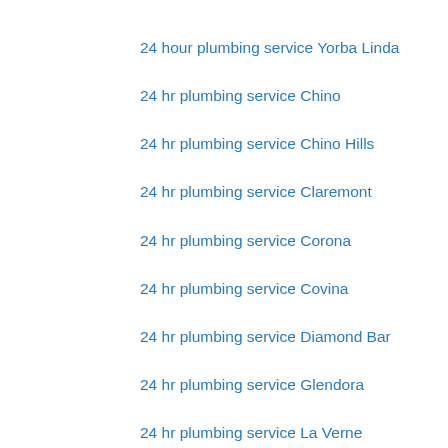24 hour plumbing service Yorba Linda
24 hr plumbing service Chino
24 hr plumbing service Chino Hills
24 hr plumbing service Claremont
24 hr plumbing service Corona
24 hr plumbing service Covina
24 hr plumbing service Diamond Bar
24 hr plumbing service Glendora
24 hr plumbing service La Verne
24 hr plumbing service Montclair